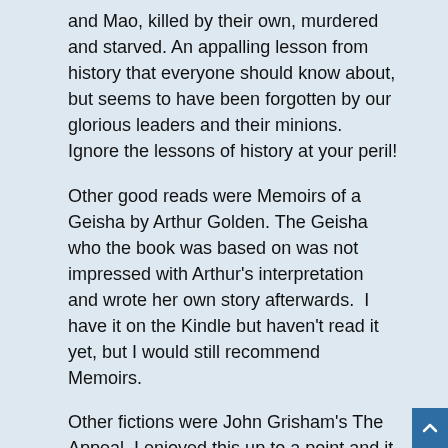and Mao, killed by their own, murdered and starved. An appalling lesson from history that everyone should know about, but seems to have been forgotten by our glorious leaders and their minions. Ignore the lessons of history at your peril!
Other good reads were Memoirs of a Geisha by Arthur Golden. The Geisha who the book was based on was not impressed with Arthur's interpretation and wrote her own story afterwards.  I have it on the Kindle but haven't read it yet, but I would still recommend Memoirs.
Other fictions were John Grisham's The Appeal. I enjoyed this up to a point and it felt very relevant considering it's themes of political and corporate corruption. There is no happy ending to this one so don't read it if you're feeling depressed, it just might tip you over the edge especially with 'life', if you could call it that, at present.
On the rest of the reading list was Wilbur Smith's Blue Horizon, this is book 11 in a whole series about the Courtney family but I haven't read any of the others. It was a bit of an